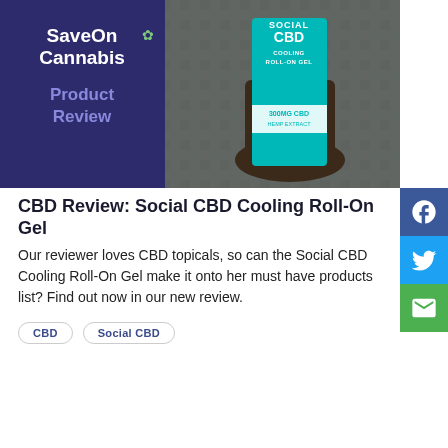[Figure (photo): SaveOn Cannabis Product Review header image showing a hand holding a teal Social CBD Cooling Roll-On Gel box (300mg CBD Hemp Extract) against a stone background, with SaveOn Cannabis branding in white text on a purple/dark background on the left side]
CBD Review: Social CBD Cooling Roll-On Gel
Our reviewer loves CBD topicals, so can the Social CBD Cooling Roll-On Gel make it onto her must have products list? Find out now in our new review.
CBD
Social CBD